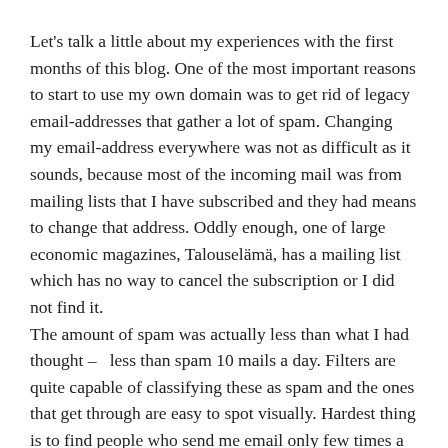Let's talk a little about my experiences with the first months of this blog. One of the most important reasons to start to use my own domain was to get rid of legacy email-addresses that gather a lot of spam. Changing my email-address everywhere was not as difficult as it sounds, because most of the incoming mail was from mailing lists that I have subscribed and they had means to change that address. Oddly enough, one of large economic magazines, Talouselämä, has a mailing list which has no way to cancel the subscription or I did not find it.
The amount of spam was actually less than what I had thought – less than spam 10 mails a day. Filters are quite capable of classifying these as spam and the ones that get through are easy to spot visually. Hardest thing is to find people who send me email only few times a year. That requires a good address book and/or good scanning of your email database.
I have registered a lot of software during the last decades and some of them might not have that store. At least my uncle and...